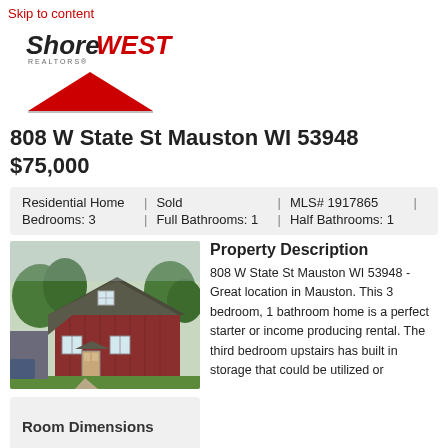Skip to content
[Figure (logo): ShoreWest Realtors logo with red triangle below text]
808 W State St Mauston WI 53948
$75,000
| Residential Home | | | Sold | | | MLS# 1917865 | | |
| Bedrooms: 3 | | | Full Bathrooms: 1 | | | Half Bathrooms: 1 |
[Figure (photo): Red barn-style house with green lawn and trees]
Room Dimensions
Property Description
808 W State St Mauston WI 53948 - Great location in Mauston. This 3 bedroom, 1 bathroom home is a perfect starter or income producing rental. The third bedroom upstairs has built in storage that could be utilized or